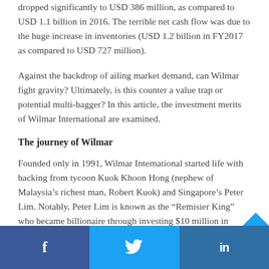dropped significantly to USD 386 million, as compared to USD 1.1 billion in 2016. The terrible net cash flow was due to the huge increase in inventories (USD 1.2 billion in FY2017 as compared to USD 727 million).
Against the backdrop of ailing market demand, can Wilmar fight gravity? Ultimately, is this counter a value trap or potential multi-bagger? In this article, the investment merits of Wilmar International are examined.
The journey of Wilmar
Founded only in 1991, Wilmar International started life with backing from tycoon Kuok Khoon Hong (nephew of Malaysia's richest man, Robert Kuok) and Singapore's Peter Lim. Notably, Peter Lim is known as the “Remisier King” who became billionaire through investing $10 million in Wilmar when it was a relatively unknown start-up.
f  [twitter]  in